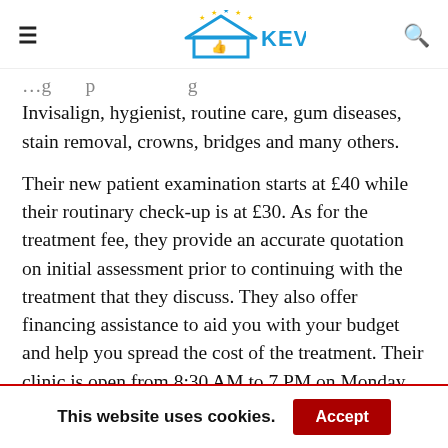KEV'S BEST
Invisalign, hygienist, routine care, gum diseases, stain removal, crowns, bridges and many others.
Their new patient examination starts at £40 while their routinary check-up is at £30. As for the treatment fee, they provide an accurate quotation on initial assessment prior to continuing with the treatment that they discuss. They also offer financing assistance to aid you with your budget and help you spread the cost of the treatment. Their clinic is open from 8:30 AM to 7 PM on Monday, from 8:30 AM to 5 PM from Tuesday to Friday and from
This website uses cookies.